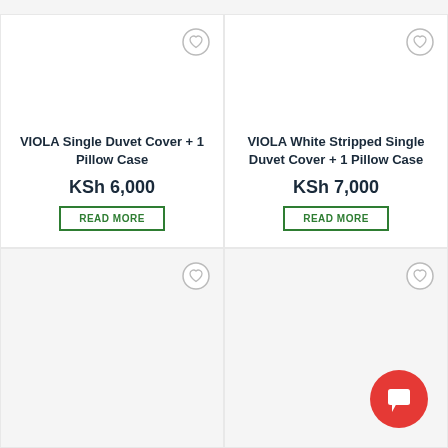[Figure (screenshot): Product card grid showing two bedding products with wishlist heart icons, product titles, prices in KSh, and READ MORE buttons. Below is a second row of product cards partially visible with wishlist icons. A red chat button is in the bottom right.]
VIOLA Single Duvet Cover + 1 Pillow Case
KSh 6,000
READ MORE
VIOLA White Stripped Single Duvet Cover + 1 Pillow Case
KSh 7,000
READ MORE